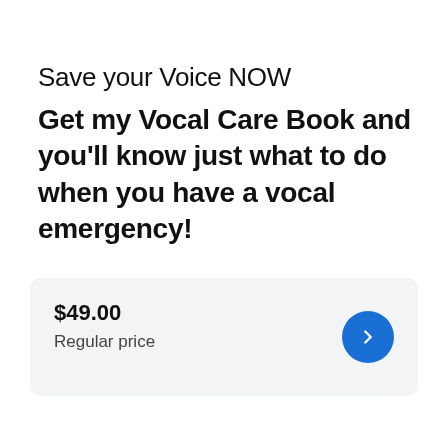Save your Voice NOW
Get my Vocal Care Book and you'll know just what to do when you have a vocal emergency!
$49.00
Regular price